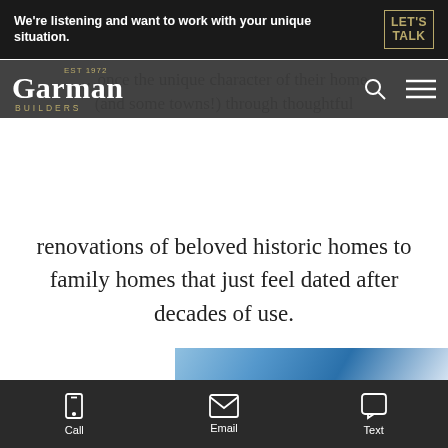We're listening and want to work with your unique situation. LET'S TALK
[Figure (logo): Garman Builders logo, EST 1972, with search and hamburger menu icons]
renovations of beloved historic homes to family homes that just feel dated after decades of use.
[Figure (photo): Partial view of a blue sky/building photo strip at the bottom of the content area]
Call  Email  Text